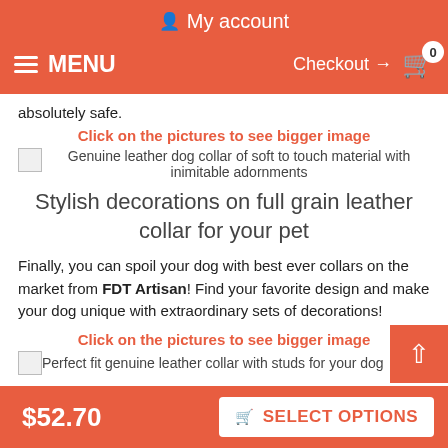My account
MENU  Checkout → 0
absolutely safe.
Click on the pictures to see bigger image
[Figure (photo): Genuine leather dog collar of soft to touch material with inimitable adornments]
Stylish decorations on full grain leather collar for your pet
Finally, you can spoil your dog with best ever collars on the market from FDT Artisan! Find your favorite design and make your dog unique with extraordinary sets of decorations!
Click on the pictures to see bigger image
[Figure (photo): Perfect fit genuine leather collar with studs for your dog]
$52.70  SELECT OPTIONS